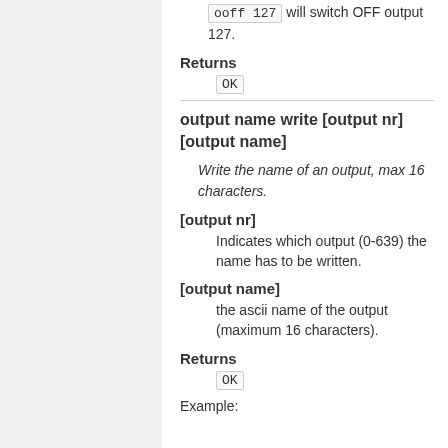ooff 127 will switch OFF output 127.
Returns
OK
output name write [output nr][output name]
Write the name of an output, max 16 characters.
[output nr]
Indicates which output (0-639) the name has to be written.
[output name]
the ascii name of the output (maximum 16 characters).
Returns
OK
Example: